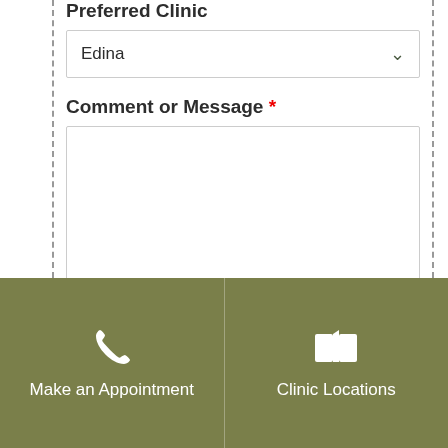Preferred Clinic
Edina
Comment or Message *
Submit
Make an Appointment
Clinic Locations